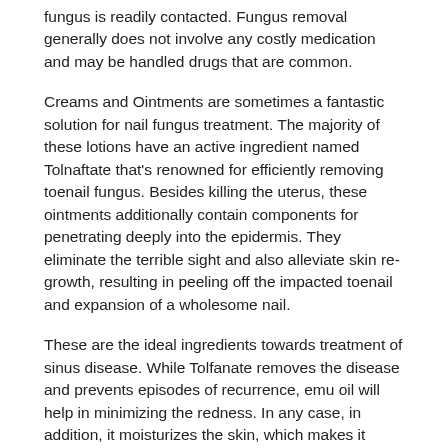fungus is readily contacted. Fungus removal generally does not involve any costly medication and may be handled drugs that are common.
Creams and Ointments are sometimes a fantastic solution for nail fungus treatment. The majority of these lotions have an active ingredient named Tolnaftate that’s renowned for efficiently removing toenail fungus. Besides killing the uterus, these ointments additionally contain components for penetrating deeply into the epidermis. They eliminate the terrible sight and also alleviate skin re-growth, resulting in peeling off the impacted toenail and expansion of a wholesome nail.
These are the ideal ingredients towards treatment of sinus disease. While Tolfanate removes the disease and prevents episodes of recurrence, emu oil will help in minimizing the redness. In any case, in addition, it moisturizes the skin, which makes it seem much healthier and nourished. Tea tree oil, in its role, plays an essential role in skin regeneration and care. Additionally, it aids in the development of healthy hair. A lotion having an effective mixture of those ingredients eliminates disfigured nail and skin and develops healthy and fresh skin.